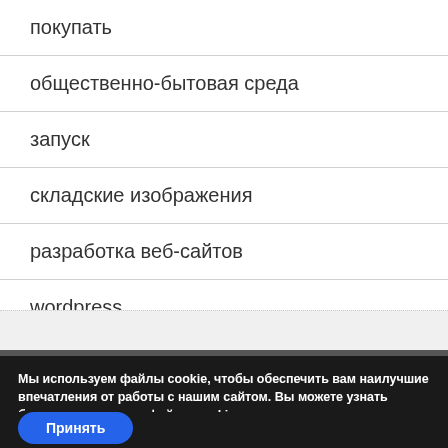покупать
общественно-бытовая среда
запуск
складские изображения
разработка веб-сайтов
wordpress
Мы используем файлы cookie, чтобы обеспечить вам наилучшие впечатления от работы с нашим сайтом. Вы можете узнать больше о том, какие файлы cookie мы используем, или отключить их в настройках.
Принять